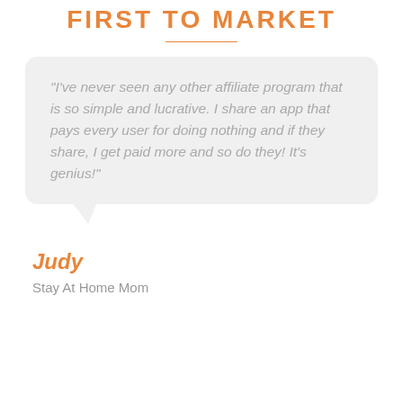FIRST TO MARKET
"I've never seen any other affiliate program that is so simple and lucrative. I share an app that pays every user for doing nothing and if they share, I get paid more and so do they! It's genius!"
Judy
Stay At Home Mom